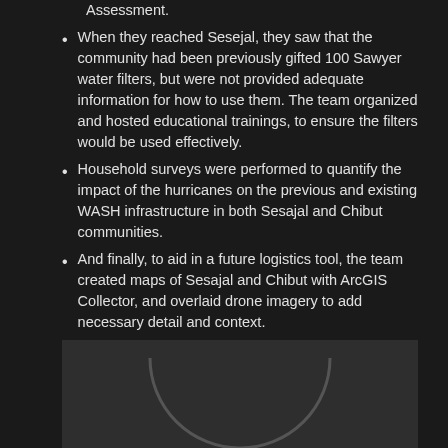Assessment.
When they reached Sesejal, they saw that the community had been previously gifted 100 Sawyer water filters, but were not provided adequate information for how to use them. The team organized and hosted educational trainings, to ensure the filters would be used effectively.
Household surveys were performed to quantify the impact of the hurricanes on the previous and existing WASH infrastructure in both Sesajal and Chibut communities.
And finally, to aid in a future logistics tool, the team created maps of Sesajal and Chibut with ArcGIS Collector, and overlaid drone imagery to add necessary detail and context.
[Figure (photo): Partial image of a circular object or logo on a dark grey background, only the top portion is visible.]